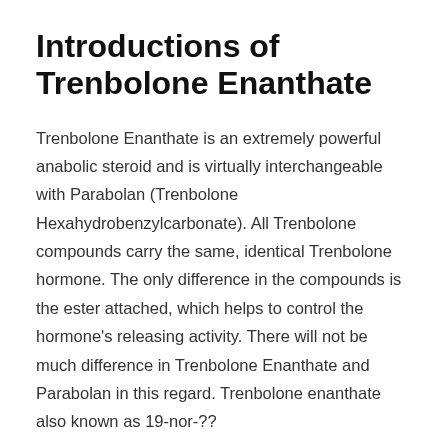Introductions of Trenbolone Enanthate
Trenbolone Enanthate is an extremely powerful anabolic steroid and is virtually interchangeable with Parabolan (Trenbolone Hexahydrobenzylcarbonate). All Trenbolone compounds carry the same, identical Trenbolone hormone. The only difference in the compounds is the ester attached, which helps to control the hormone's releasing activity. There will not be much difference in Trenbolone Enanthate and Parabolan in this regard. Trenbolone enanthate also known as 19-nor-??